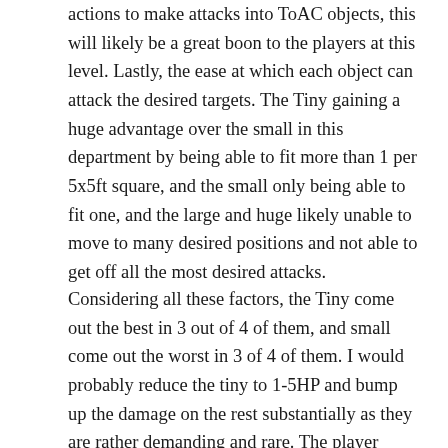actions to make attacks into ToAC objects, this will likely be a great boon to the players at this level. Lastly, the ease at which each object can attack the desired targets. The Tiny gaining a huge advantage over the small in this department by being able to fit more than 1 per 5x5ft square, and the small only being able to fit one, and the large and huge likely unable to move to many desired positions and not able to get off all the most desired attacks.
Considering all these factors, the Tiny come out the best in 3 out of 4 of them, and small come out the worst in 3 of 4 of them. I would probably reduce the tiny to 1-5HP and bump up the damage on the rest substantially as they are rather demanding and rare. The player should get rewarded in some way